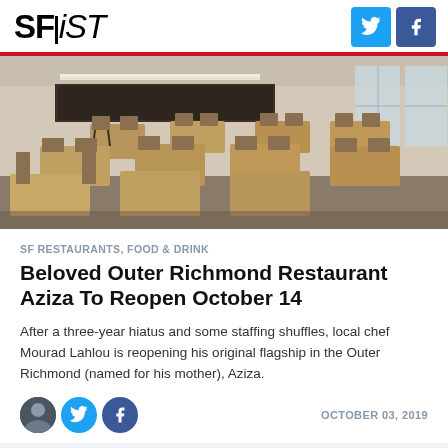SFiST
[Figure (photo): Interior of restaurant Aziza showing tables and chairs in a modern dining room with large windows]
SF RESTAURANTS, FOOD & DRINK
Beloved Outer Richmond Restaurant Aziza To Reopen October 14
After a three-year hiatus and some staffing shuffles, local chef Mourad Lahlou is reopening his original flagship in the Outer Richmond (named for his mother), Aziza.
OCTOBER 03, 2019